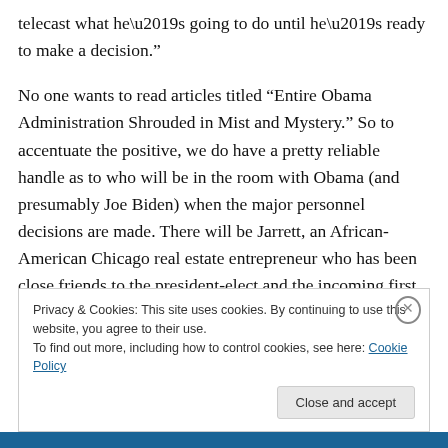telecast what he’s going to do until he’s ready to make a decision.”
No one wants to read articles titled “Entire Obama Administration Shrouded in Mist and Mystery.” So to accentuate the positive, we do have a pretty reliable handle as to who will be in the room with Obama (and presumably Joe Biden) when the major personnel decisions are made. There will be Jarrett, an African-American Chicago real estate entrepreneur who has been close friends to the president-elect and the incoming first
Privacy & Cookies: This site uses cookies. By continuing to use this website, you agree to their use.
To find out more, including how to control cookies, see here: Cookie Policy